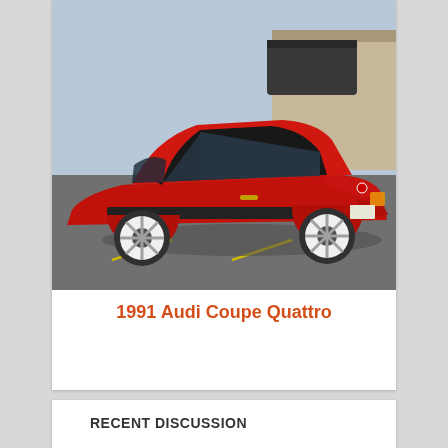[Figure (photo): Red 1991 Audi Coupe Quattro photographed in a parking lot from a three-quarter front angle. The car is red with white wheels and black trim.]
1991 Audi Coupe Quattro
RECENT DISCUSSION